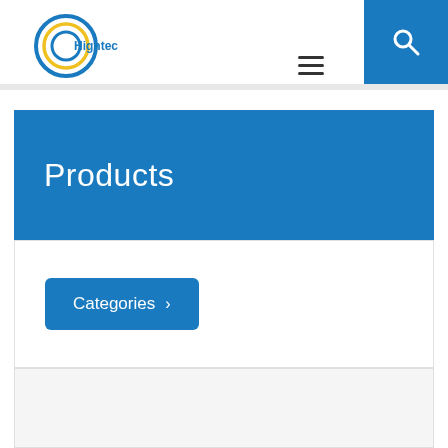[Figure (logo): Hightech company logo — circular swirl design in blue and yellow with 'Hightech' text]
[Figure (other): Hamburger menu icon (three horizontal lines)]
[Figure (other): Search button — blue square with white magnifying glass icon]
Products
Categories >